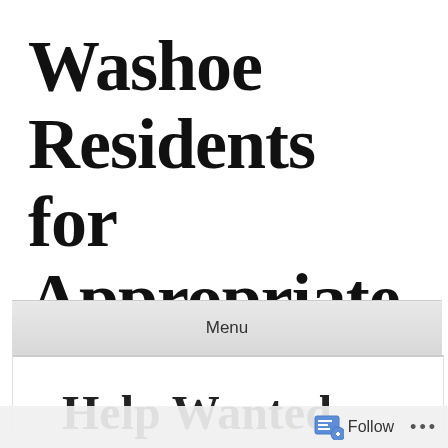Washoe Residents for Appropriate Planning
Menu
Help Wanted
Follow ...